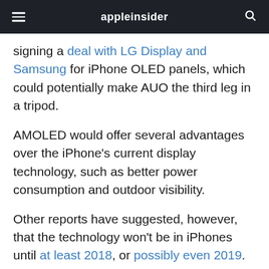appleinsider
signing a deal with LG Display and Samsung for iPhone OLED panels, which could potentially make AUO the third leg in a tripod.
AMOLED would offer several advantages over the iPhone's current display technology, such as better power consumption and outdoor visibility.
Other reports have suggested, however, that the technology won't be in iPhones until at least 2018, or possibly even 2019.
4 Comments